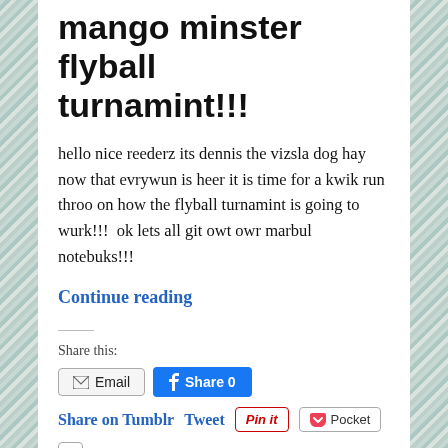mango minster flyball turnamint!!!
hello nice reederz its dennis the vizsla dog hay now that evrywun is heer it is time for a kwik run throo on how the flyball turnamint is going to wurk!!!  ok lets all git owt owr marbul notebuks!!!
Continue reading
Share this:
Email  Share 0
Share on Tumblr  Tweet  Pinit  Pocket  0
Telegram  WhatsApp